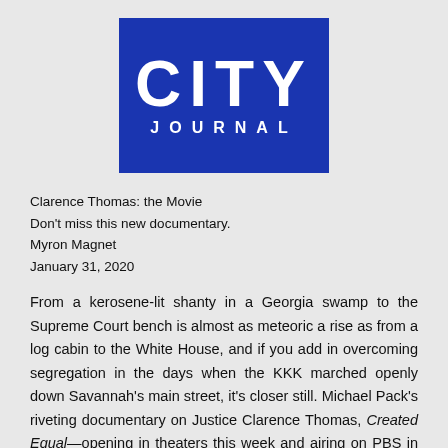[Figure (logo): City Journal logo — blue rectangle with white bold 'CITY' in large letters and 'JOURNAL' in spaced caps below]
Clarence Thomas: the Movie
Don't miss this new documentary.
Myron Magnet
January 31, 2020
From a kerosene-lit shanty in a Georgia swamp to the Supreme Court bench is almost as meteoric a rise as from a log cabin to the White House, and if you add in overcoming segregation in the days when the KKK marched openly down Savannah's main street, it's closer still. Michael Pack's riveting documentary on Justice Clarence Thomas, Created Equal—opening in theaters this week and airing on PBS in May—movingly captures th